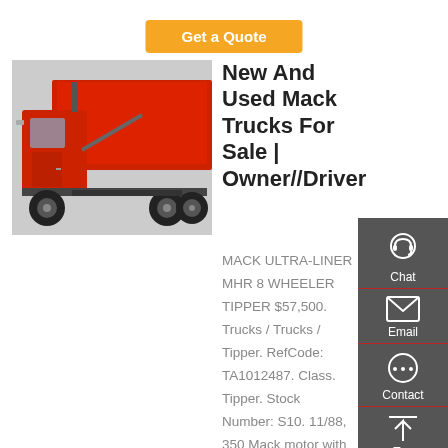Get a Quote
[Figure (photo): Red Mack truck tipper/dump truck photographed from the side-rear, showing the cab and dump bed]
New And Used Mack Trucks For Sale | Owner//Driver
MACK ULTRA-LINER MHR 8 WHEELER TIPPER $57,500. Trucks / Trucks / Tipper. RefCode: TA1012487. Class. Tipper. Stock Number: S10. 11/88, 350 Mack motor with engine brake, 12 speed Mack o/drive gearbox, Mack heavy duty rear end.